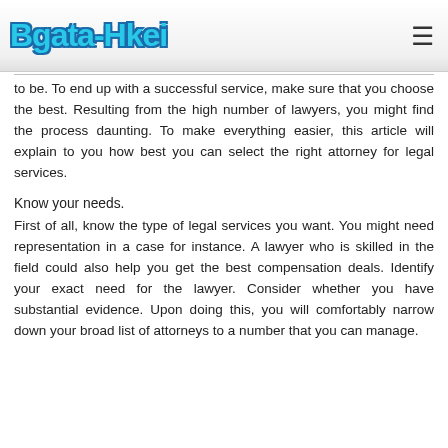Bgata-Hkei
to be. To end up with a successful service, make sure that you choose the best. Resulting from the high number of lawyers, you might find the process daunting. To make everything easier, this article will explain to you how best you can select the right attorney for legal services.
Know your needs.
First of all, know the type of legal services you want. You might need representation in a case for instance. A lawyer who is skilled in the field could also help you get the best compensation deals. Identify your exact need for the lawyer. Consider whether you have substantial evidence. Upon doing this, you will comfortably narrow down your broad list of attorneys to a number that you can manage.